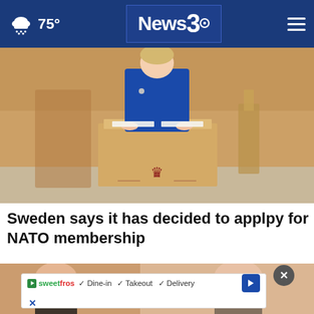75° News3 [navigation header with weather and logo]
[Figure (photo): Woman in blue blazer standing at a wooden podium with a Swedish crown emblem, speaking in what appears to be the Swedish parliament chamber]
Sweden says it has decided to applpy for NATO membership
[Figure (photo): Partial second news story image, cropped at bottom of page]
sweetfrog ✓ Dine-in ✓ Takeout ✓ Delivery [advertisement]